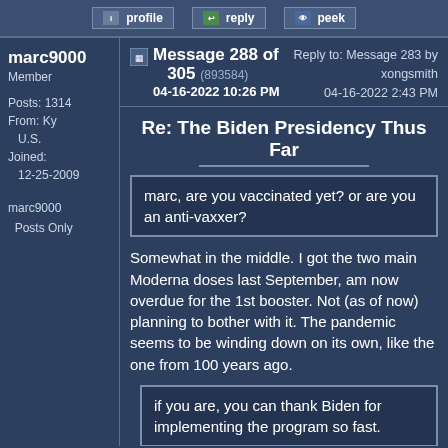profile   reply   peek
marc9000
Member
Posts: 1314
From: Ky U.S.
Joined: 12-25-2009
marc9000
Posts Only
Message 288 of 305 (893584)
04-16-2022 10:26 PM
Reply to: Message 283 by xongsmith
04-16-2022 2:43 PM
Re: The Biden Presidency Thus Far
marc, are you vaccinated yet? or are you an anti-vaxxer?
Somewhat in the middle. I got the two main Moderna doses last September, am now overdue for the 1st booster. Not (as of now) planning to bother with it. The pandemic seems to be winding down on its own, like the one from 100 years ago.
if you are, you can thank Biden for implementing the program so fast.
I can? "Operation Warp Speed" happened under the Trump administration.
quote: